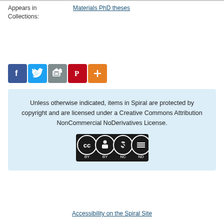Appears in Collections:
Materials PhD theses
[Figure (infographic): Social media sharing buttons: Facebook (blue), Twitter (light blue), Email/share (grey), Pinterest (red), More/Plus (orange)]
Unless otherwise indicated, items in Spiral are protected by copyright and are licensed under a Creative Commons Attribution NonCommercial NoDerivatives License.
[Figure (logo): Creative Commons BY-NC-ND license badge showing four circular icons: CC, BY, NC, ND]
Accessibility on the Spiral Site